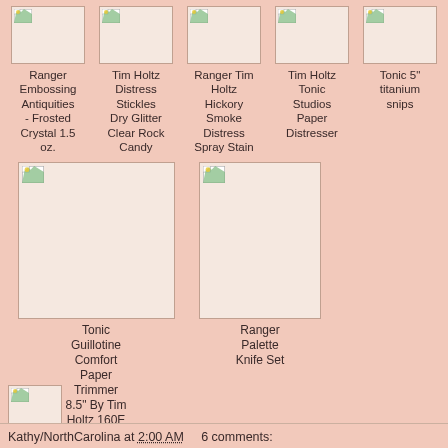[Figure (other): Product image placeholder for Ranger Embossing Antiquities - Frosted Crystal 1.5 oz.]
Ranger Embossing Antiquities - Frosted Crystal 1.5 oz.
[Figure (other): Product image placeholder for Tim Holtz Distress Stickles Dry Glitter Clear Rock Candy]
Tim Holtz Distress Stickles Dry Glitter Clear Rock Candy
[Figure (other): Product image placeholder for Ranger Tim Holtz Hickory Smoke Distress Spray Stain]
Ranger Tim Holtz Hickory Smoke Distress Spray Stain
[Figure (other): Product image placeholder for Tim Holtz Tonic Studios Paper Distresser]
Tim Holtz Tonic Studios Paper Distresser
[Figure (other): Product image placeholder for Tonic 5" titanium snips]
Tonic 5" titanium snips
[Figure (other): Product image placeholder for Tonic Guillotine Comfort Paper Trimmer 8.5" By Tim Holtz 160E]
Tonic Guillotine Comfort Paper Trimmer 8.5" By Tim Holtz 160E
[Figure (other): Product image placeholder for Ranger Palette Knife Set]
Ranger Palette Knife Set
[Figure (other): Small product image placeholder]
Kathy/NorthCarolina at 2:00 AM    6 comments: